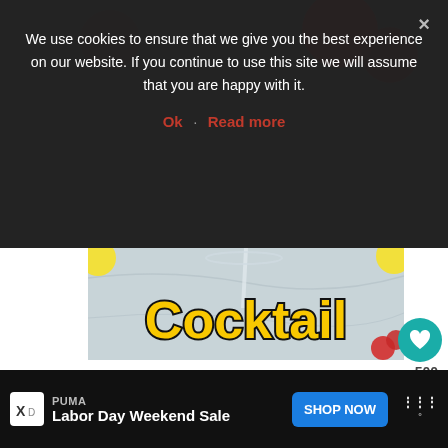We use cookies to ensure that we give you the best experience on our website. If you continue to use this site we will assume that you are happy with it.
Ok  Read more
[Figure (photo): Photo of cocktail ingredients on a marble surface including a martini glass stem, raspberries, lemon slices, with the word 'Cocktail' in large bold yellow text with black outline overlaid on the image. A teal heart/favorite button is visible in the bottom right corner.]
500
PUMA
Labor Day Weekend Sale
SHOP NOW